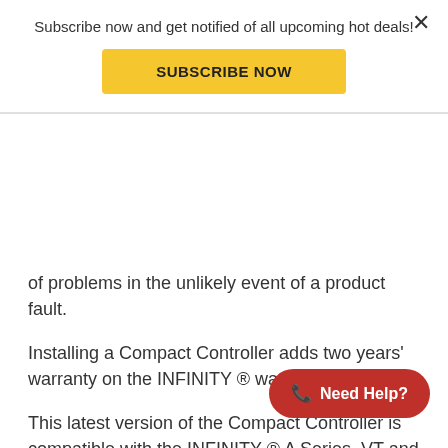Subscribe now and get notified of all upcoming hot deals!
SUBSCRIBE NOW
of problems in the unlikely event of a product fault.
Installing a Compact Controller adds two years' warranty on the INFINITY ® water heater.
This latest version of the Compact Controller is compatible with the INFINITY ® A Series, VT and XR models. The product code is MC601A.
*Please note that if you wish to have a controller in a specific location and we need to run cable, possibly open walls, then mak... decorating, etc... this would all be extra cost over